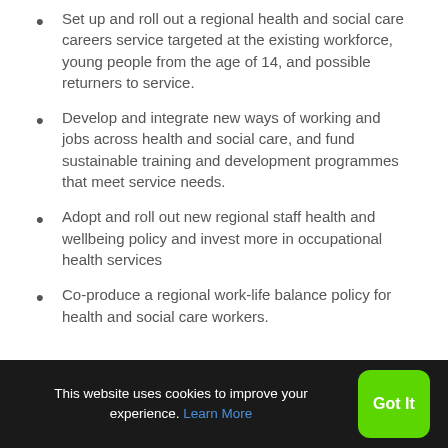Set up and roll out a regional health and social care careers service targeted at the existing workforce, young people from the age of 14, and possible returners to service.
Develop and integrate new ways of working and jobs across health and social care, and fund sustainable training and development programmes that meet service needs.
Adopt and roll out new regional staff health and wellbeing policy and invest more in occupational health services
Co-produce a regional work-life balance policy for health and social care workers.
This website uses cookies to improve your experience. Learn More